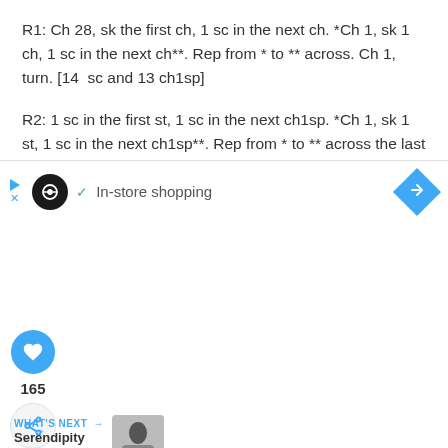R1: Ch 28, sk the first ch, 1 sc in the next ch. *Ch 1, sk 1 ch, 1 sc in the next ch**. Rep from * to ** across. Ch 1, turn. [14  sc and 13 ch1sp]
R2: 1 sc in the first st, 1 sc in the next ch1sp. *Ch 1, sk 1 st, 1 sc in the next ch1sp**. Rep from * to ** across the last st of the row. 1 sc in the last st. Ch 1, turn. [15 sc and 12 ch1sp]
[Figure (infographic): Heart (like) button in blue circle, count 165, and share button]
165
[Figure (infographic): WHAT'S NEXT arrow label with Serendipity Scarf Pattern thumbnail image]
[Figure (infographic): Advertisement bar: looping infinity logo, checkmark, In-store shopping text, blue diamond arrow icon]